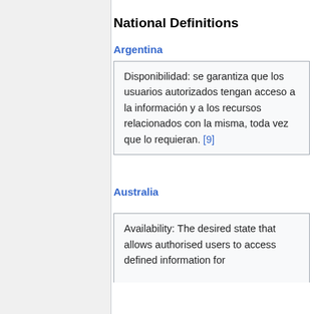National Definitions
Argentina
Disponibilidad: se garantiza que los usuarios autorizados tengan acceso a la información y a los recursos relacionados con la misma, toda vez que lo requieran. [9]
Australia
Availability: The desired state that allows authorised users to access defined information for